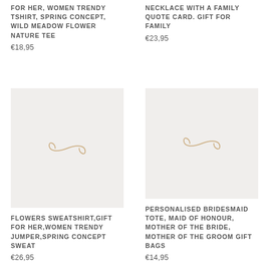FOR HER, WOMEN TRENDY TSHIRT, SPRING CONCEPT, WILD MEADOW FLOWER NATURE TEE
€18,95
NECKLACE WITH A FAMILY QUOTE CARD. GIFT FOR FAMILY
€23,95
[Figure (logo): Placeholder image with a cursive infinity-style logo on light grey background]
FLOWERS SWEATSHIRT,GIFT FOR HER,WOMEN TRENDY JUMPER,SPRING CONCEPT SWEAT
€26,95
[Figure (logo): Placeholder image with a cursive infinity-style logo on light grey background]
PERSONALISED BRIDESMAID TOTE, MAID OF HONOUR, MOTHER OF THE BRIDE, MOTHER OF THE GROOM GIFT BAGS
€14,95